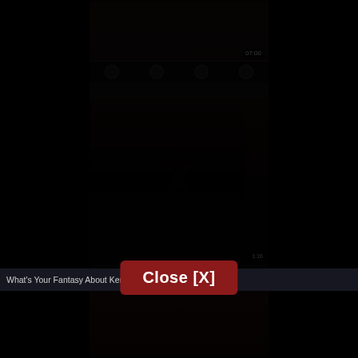[Figure (screenshot): Dark-themed adult video website screenshot showing video thumbnails in a center column with heavy dark overlay. A red 'Close [X]' button is displayed prominently in the center of the page as an overlay/popup. At the bottom is a banner bar reading 'What's Your Fantasy About Kendra Lust , Lisa An...' with a partially visible thumbnail image below it.]
Close [X]
What's Your Fantasy About Kendra Lust , Lisa An...